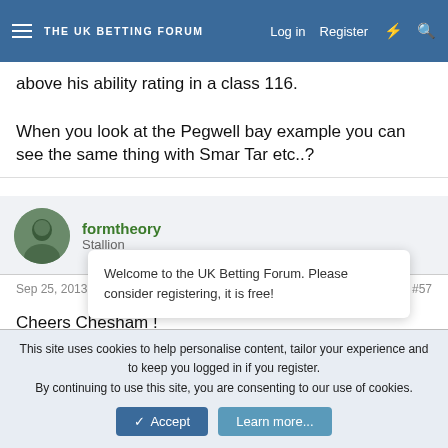THE UK BETTING FORUM — Log in | Register
above his ability rating in a class 116.
When you look at the Pegwell bay example you can see the same thing with Smar Tar etc..?
formtheory
Stallion
Sep 25, 2013  #57
Cheers Chesham !
Much appreciated

Paul.
Welcome to the UK Betting Forum. Please consider registering, it is free!
This site uses cookies to help personalise content, tailor your experience and to keep you logged in if you register.
By continuing to use this site, you are consenting to our use of cookies.
Accept  Learn more...